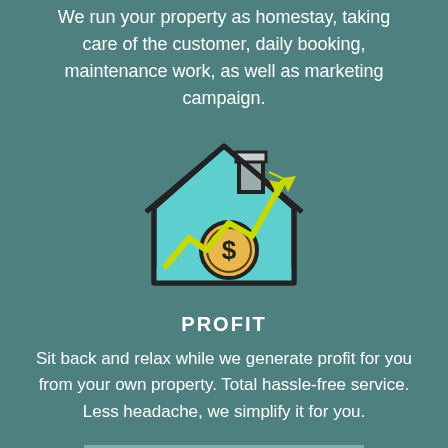We run your property as homestay, taking care of the customer, daily booking, maintenance work, as well as marketing campaign.
[Figure (illustration): Icon of a house with a chimney, colored in light blue/teal, featuring a rising arrow (yellow-green) and a gold dollar coin, indicating profit from property.]
PROFIT
Sit back and relax while we generate profit for you from your own property. Total hassle-free service. Less headache, we simplify it for you.
LET'S GET STARTED